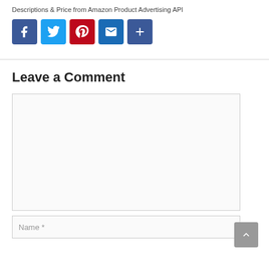Descriptions & Price from Amazon Product Advertising API
[Figure (other): Social sharing icons: Facebook, Twitter, Pinterest, Email, More (+)]
Leave a Comment
Comment text area (empty)
Name *